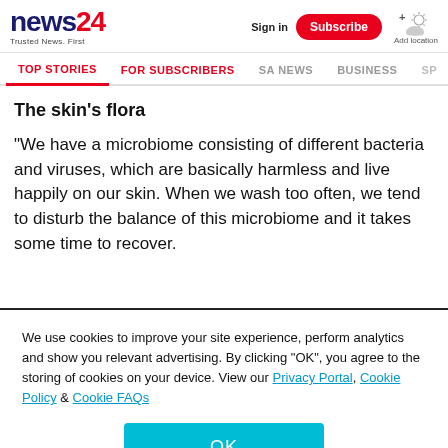news24 Trusted News. First | Sign in | Subscribe | Add location
TOP STORIES | FOR SUBSCRIBERS | SA NEWS | BUSINESS | SP
The skin's flora
"We have a microbiome consisting of different bacteria and viruses, which are basically harmless and live happily on our skin. When we wash too often, we tend to disturb the balance of this microbiome and it takes some time to recover.
We use cookies to improve your site experience, perform analytics and show you relevant advertising. By clicking "OK", you agree to the storing of cookies on your device. View our Privacy Portal, Cookie Policy & Cookie FAQs
OK